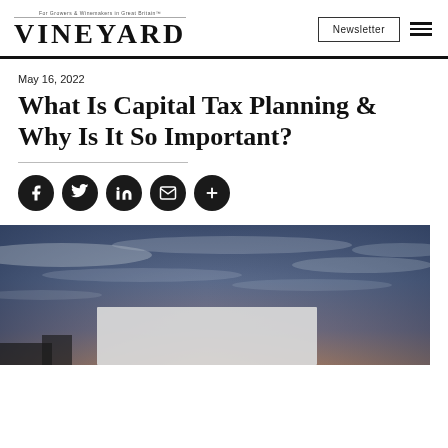VINEYARD — Newsletter
May 16, 2022
What Is Capital Tax Planning & Why Is It So Important?
[Figure (other): Social sharing icons: Facebook, Twitter, LinkedIn, Email, Plus/More]
[Figure (photo): Dramatic sky with clouds at dusk/sunset, with a light-colored overlay box at the bottom center]